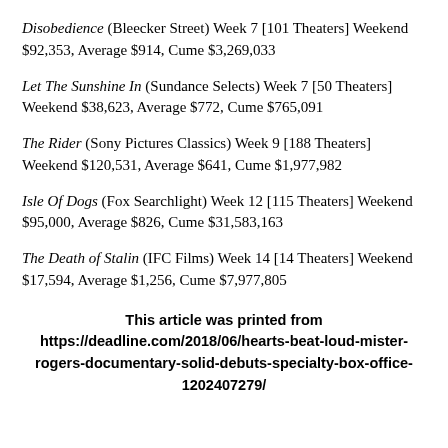Disobedience (Bleecker Street) Week 7 [101 Theaters] Weekend $92,353, Average $914, Cume $3,269,033
Let The Sunshine In (Sundance Selects) Week 7 [50 Theaters] Weekend $38,623, Average $772, Cume $765,091
The Rider (Sony Pictures Classics) Week 9 [188 Theaters] Weekend $120,531, Average $641, Cume $1,977,982
Isle Of Dogs (Fox Searchlight) Week 12 [115 Theaters] Weekend $95,000, Average $826, Cume $31,583,163
The Death of Stalin (IFC Films) Week 14 [14 Theaters] Weekend $17,594, Average $1,256, Cume $7,977,805
This article was printed from https://deadline.com/2018/06/hearts-beat-loud-mister-rogers-documentary-solid-debuts-specialty-box-office-1202407279/